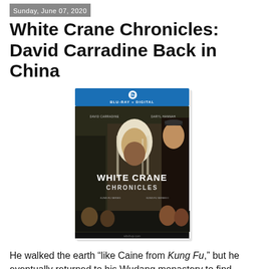Sunday, June 07, 2020
White Crane Chronicles: David Carradine Back in China
[Figure (photo): Blu-ray cover of White Crane Chronicles featuring David Carradine and Daryl Hannah, with multiple cast members depicted on a dark dramatic background with the title 'White Crane Chronicles' prominently displayed. Blue Blu-ray + Digital header at top.]
He walked the earth “like Caine from Kung Fu,” but he eventually returned to his Wudang monastery to find peace in his later years. Unfortunately, the violence of the outside world will give him no respite. His name is Crane, not Caine and this time the late David Carradine was not pretending to be anything but caucasian, but there was definitely a lot of winking and nodding going on towards his 1970s television